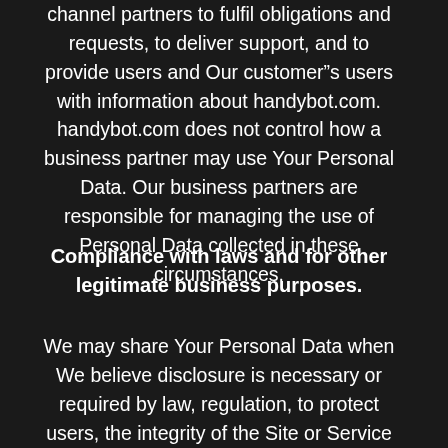channel partners to fulfil obligations and requests, to deliver support, and to provide users and Our customer"s users with information about handybot.com. handybot.com does not control how a business partner may use Your Personal Data. Our business partners are responsible for managing the use of Personal Data collected in these circumstances.
Compliance with laws and for other legitimate business purposes.
We may share Your Personal Data when We believe disclosure is necessary or required by law, regulation, to protect users, the integrity of the Site or Service and to defend or exercise Our legal rights. We may also disclose Your Personal Data when it may be necessary for other legitimate purposes as reasonably